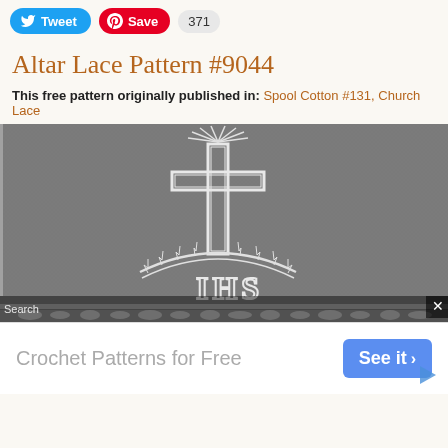[Figure (screenshot): Twitter Tweet button and Pinterest Save button with count 371]
Altar Lace Pattern #9044
This free pattern originally published in: Spool Cotton #131, Church Lace
[Figure (photo): Black and white photograph of an altar lace fabric with IHS monogram and cross design with crown of thorns motif]
Crochet Patterns for Free   See it ›